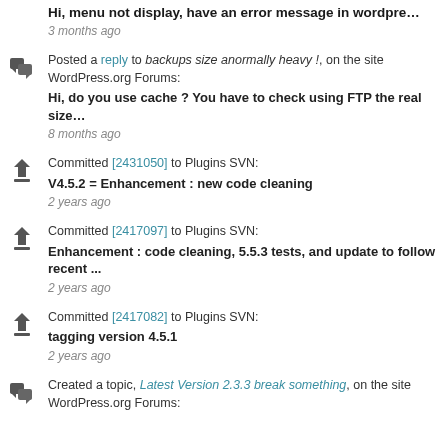Hi, menu not display, have an error message in wordpre…
3 months ago
Posted a reply to backups size anormally heavy !, on the site WordPress.org Forums:
Hi, do you use cache ? You have to check using FTP the real size…
8 months ago
Committed [2431050] to Plugins SVN:
V4.5.2 = Enhancement : new code cleaning
2 years ago
Committed [2417097] to Plugins SVN:
Enhancement : code cleaning, 5.5.3 tests, and update to follow recent ...
2 years ago
Committed [2417082] to Plugins SVN:
tagging version 4.5.1
2 years ago
Created a topic, Latest Version 2.3.3 break something, on the site WordPress.org Forums: